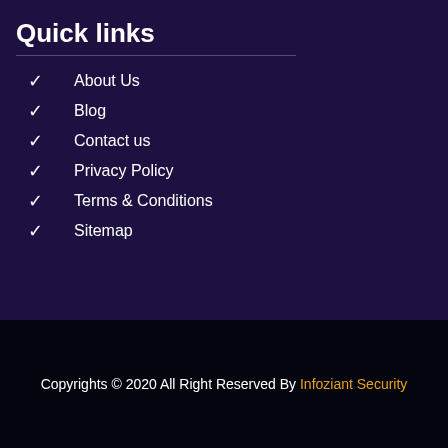Quick links
About Us
Blog
Contact us
Privacy Policy
Terms & Conditions
Sitemap
Copyrights © 2020 All Right Reserved By Infoziant Security